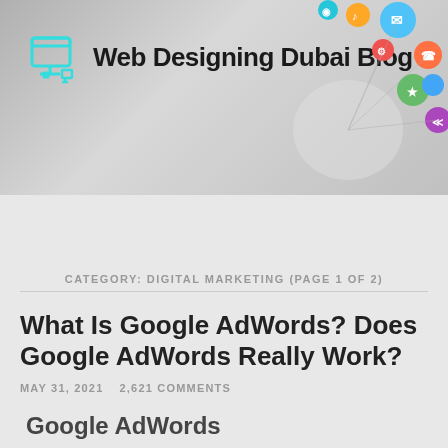[Figure (logo): Web Designing Dubai Blog logo with site name header and colorful social media icons illustration]
Web Designing Dubai Blog
[Figure (screenshot): Dark navigation bar with hamburger menu icon on left and search icon on right]
CATEGORY: DIGITAL MARKETING (PAGE 1 OF 2)
What Is Google AdWords? Does Google AdWords Really Work?
MAY 31, 2021   2,621 COMMENTS
Google AdWords
[Figure (screenshot): Article preview image showing 'WHAT IS GOOGLE ADWORDS DOES' with a person photo and M & Q Computer logo]